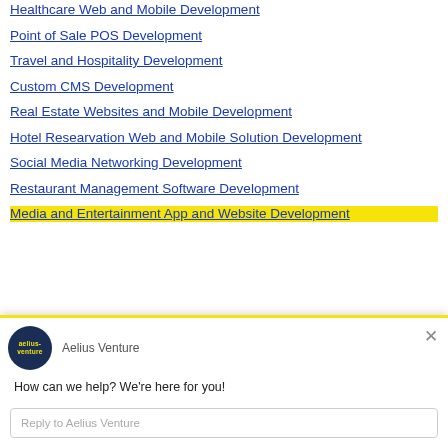Healthcare Web and Mobile Development
Point of Sale POS Development
Travel and Hospitality Development
Custom CMS Development
Real Estate Websites and Mobile Development
Hotel Researvation Web and Mobile Solution Development
Social Media Networking Development
Restaurant Management Software Development
Media and Entertainment App and Website Development
Aelius Venture
How can we help? We're here for you!
Reply to Aelius Venture